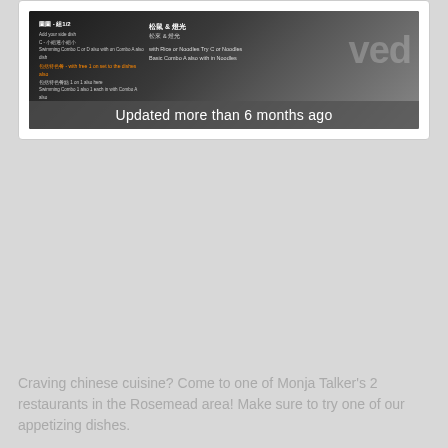[Figure (photo): A photo of a restaurant menu board, partially obscured, with Chinese and English text. An overlay banner reads 'Updated more than 6 months ago'. The word 'reviewed' is faintly visible in large letters on the right side of the image.]
Craving chinese cuisine? Come to one of Monja Talker's 2 restaurants in the Rosemead area! Make sure to try one of our appetizing dishes.